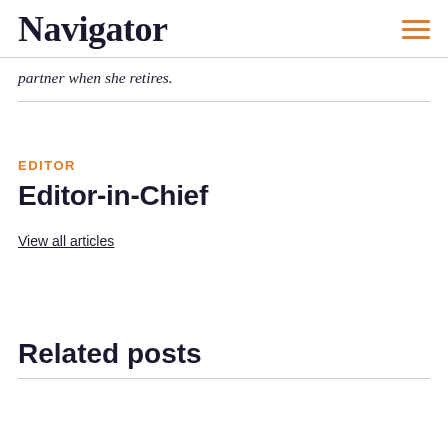Navigator
partner when she retires.
EDITOR
Editor-in-Chief
View all articles
Related posts